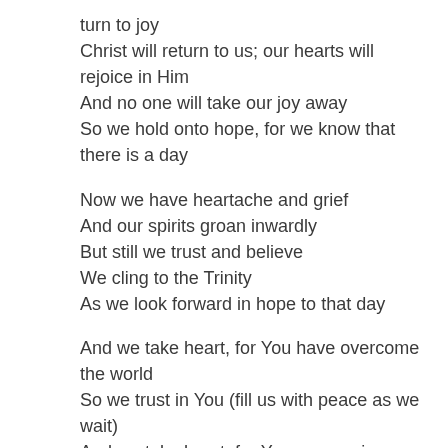turn to joy
Christ will return to us; our hearts will rejoice in Him
And no one will take our joy away
So we hold onto hope, for we know that there is a day
Now we have heartache and grief
And our spirits groan inwardly
But still we trust and believe
We cling to the Trinity
As we look forward in hope to that day
And we take heart, for You have overcome the world
So we trust in You (fill us with peace as we wait)
And we take heart, for You are coming again
So we wait on You
There is a day coming...
There is a day coming...
There is a day coming